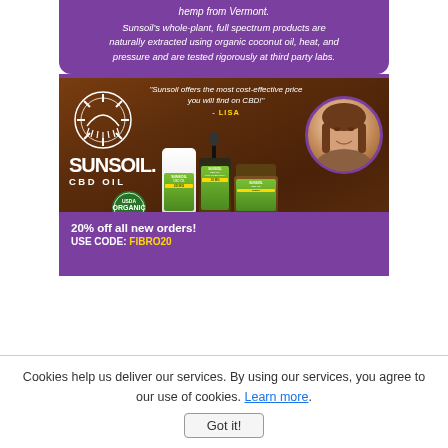[Figure (photo): Sunsoil CBD Oil advertisement showing products with purple banner, wooden background, logo, customer quote, USDA Organic badge, product bottles, and a woman's circular portrait photo]
hemp from Vermont.
Sunsoil's whole-plant, full spectrum products are naturally extracted using organic coconut oil, heat, and pressure and are tested rigorously at third party labs.
"Sunsoil offers the most cost-effective price you will find on CBD!" - LISA
20% off all new orders!
USE CODE: FIBRO20
Cookies help us deliver our services. By using our services, you agree to our use of cookies. Learn more.
Got it!